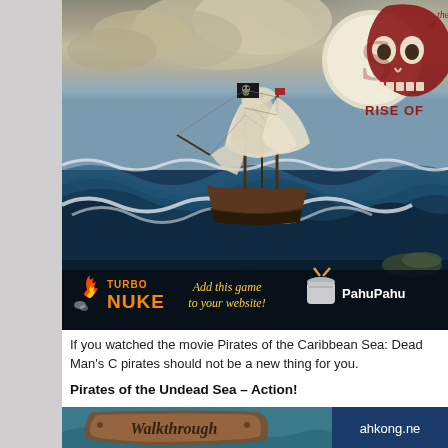[Figure (screenshot): Game screenshot showing a pirate ship with black flag sailing on stormy seas with large waves. Top right corner shows a skull logo with text 'RISE OF'. Bottom banner shows Turbo Nuke logo, 'Add this game to your website!' text, and PahuPahu logo.]
If you watched the movie Pirates of the Caribbean Sea: Dead Man's C pirates should not be a new thing for you.
Pirates of the Undead Sea – Action!
[Figure (screenshot): Bottom portion showing a Walkthrough sign on the left and 'ahkong.ne' text on a blue background on the right.]